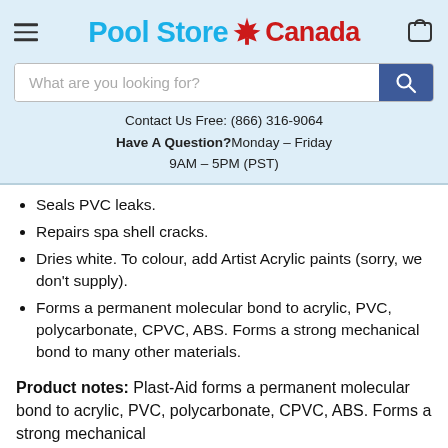Pool Store Canada
What are you looking for?
Contact Us Free: (866) 316-9064
Have A Question? Monday - Friday 9AM - 5PM (PST)
Seals PVC leaks.
Repairs spa shell cracks.
Dries white. To colour, add Artist Acrylic paints (sorry, we don't supply).
Forms a permanent molecular bond to acrylic, PVC, polycarbonate, CPVC, ABS. Forms a strong mechanical bond to many other materials.
Product notes: Plast-Aid forms a permanent molecular bond to acrylic, PVC, polycarbonate, CPVC, ABS. Forms a strong mechanical